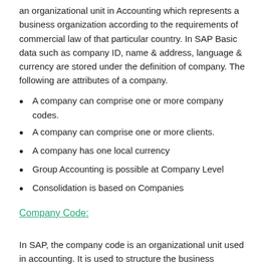an organizational unit in Accounting which represents a business organization according to the requirements of commercial law of that particular country. In SAP Basic data such as company ID, name & address, language & currency are stored under the definition of company. The following are attributes of a company.
A company can comprise one or more company codes.
A company can comprise one or more clients.
A company has one local currency
Group Accounting is possible at Company Level
Consolidation is based on Companies
Company Code:
In SAP, the company code is an organizational unit used in accounting. It is used to structure the business organization from a financial accounting perspective. It should be created according to tax law, commercial law, and other financial accounting criteria. As a rule, a company code in the SAP